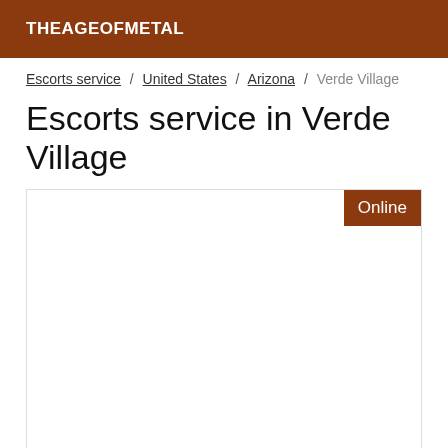THEAGEOFMETAL
Escorts service / United States / Arizona / Verde Village
Escorts service in Verde Village
[Figure (other): White card/listing box with an Online badge in brown in the top-right corner]